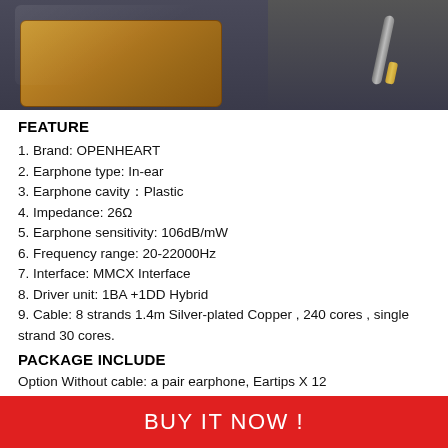[Figure (photo): Product photo showing a brown leather case and audio cable/earphone jack plug on a dark gray background]
FEATURE
1. Brand: OPENHEART
2. Earphone type: In-ear
3. Earphone cavity：Plastic
4. Impedance: 26Ω
5. Earphone sensitivity: 106dB/mW
6. Frequency range: 20-22000Hz
7. Interface: MMCX Interface
8. Driver unit: 1BA +1DD Hybrid
9. Cable: 8 strands 1.4m Silver-plated Copper , 240 cores , single strand 30 cores.
PACKAGE INCLUDE
Option Without cable: a pair earphone, Eartips X 12
Option Include cable: a pair earphone, Eartips X 12, Cable X 1, Cable tie X 1, Clip X 1, Case X 1
BUY IT NOW !